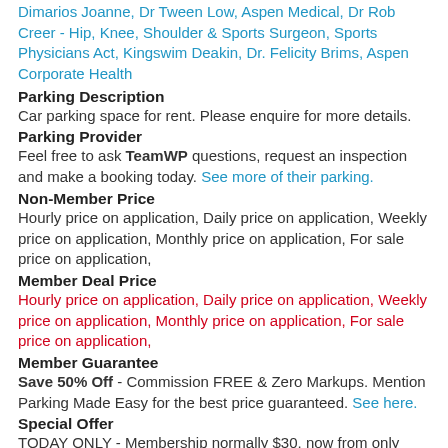Dimarios Joanne, Dr Tween Low, Aspen Medical, Dr Rob Creer - Hip, Knee, Shoulder & Sports Surgeon, Sports Physicians Act, Kingswim Deakin, Dr. Felicity Brims, Aspen Corporate Health
Parking Description
Car parking space for rent. Please enquire for more details.
Parking Provider
Feel free to ask TeamWP questions, request an inspection and make a booking today. See more of their parking.
Non-Member Price
Hourly price on application, Daily price on application, Weekly price on application, Monthly price on application, For sale price on application,
Member Deal Price
Hourly price on application, Daily price on application, Weekly price on application, Monthly price on application, For sale price on application,
Member Guarantee
Save 50% Off - Commission FREE & Zero Markups. Mention Parking Made Easy for the best price guaranteed. See here.
Special Offer
TODAY ONLY - Membership normally $30, now from only $15. A special offer for new users. Ends